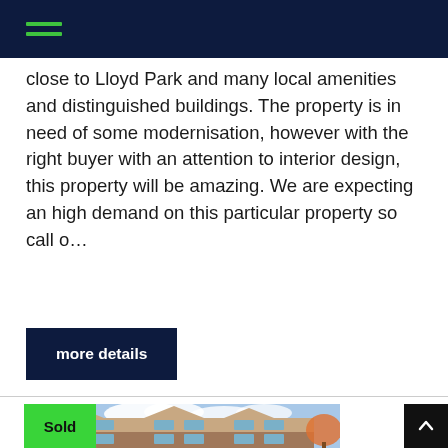Navigation header with hamburger menu
close to Lloyd Park and many local amenities and distinguished buildings. The property is in need of some modernisation, however with the right buyer with an attention to interior design, this property will be amazing. We are expecting an high demand on this particular property so call o…
more details
[Figure (photo): Exterior photo of a multi-storey residential apartment building with brick and light render facade, surrounded by trees with autumn foliage, under a partly cloudy sky. A 'Sold' badge overlays the top-left corner of the image.]